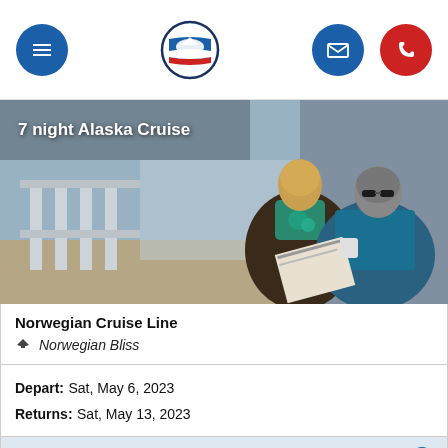Navigation bar with menu, logo, mail, and phone buttons
[Figure (photo): Two older adults, a woman with blonde hair wearing a teal necklace and a man with gray hair wearing a teal shirt, relaxing and reading on a cruise ship deck. Text overlay: '7 night Alaska Cruise']
Norwegian Cruise Line
Norwegian Bliss
Depart: Sat, May 6, 2023
Returns: Sat, May 13, 2023
Depart – Seattle, United States
Returns – Seattle, United States